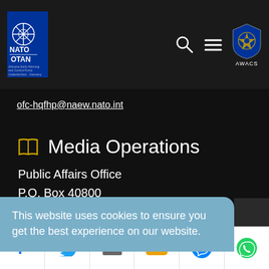NATO OTAN AWACS — Airborne Early Warning and Control Force, Geilenkirchen, Germany
ofc-hqfhp@naew.nato.int
Media Operations
Public Affairs Office
P.O. Box 40800
Lilienthalallee 100
This website uses cookies to ensure you get the best experience on our website.